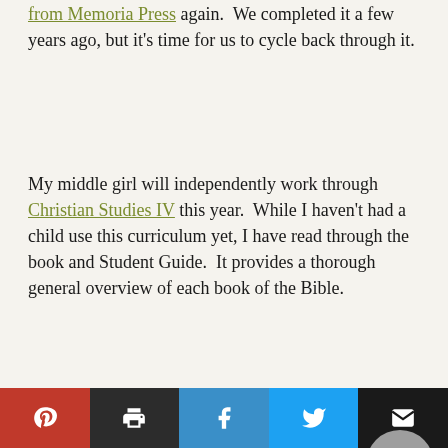from Memoria Press again.  We completed it a few years ago, but it's time for us to cycle back through it.
My middle girl will independently work through Christian Studies IV this year.  While I haven't had a child use this curriculum yet, I have read through the book and Student Guide.  It provides a thorough general overview of each book of the Bible.
I really like what I've seen so far!
[Figure (photo): Two Christian Studies IV books side by side, showing their covers with title CHRISTIAN STUDIES and Roman numeral IV]
[Figure (other): Social sharing bar with Pinterest, Print, Facebook, Twitter, and Email buttons]